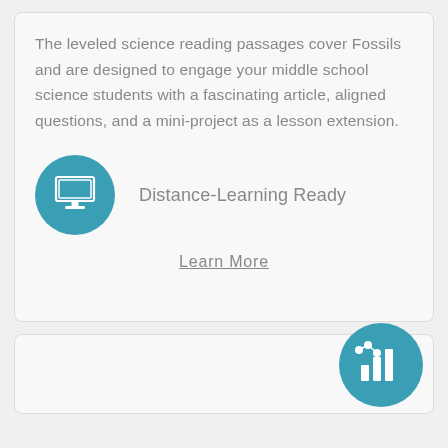The leveled science reading passages cover Fossils and are designed to engage your middle school science students with a fascinating article, aligned questions, and a mini-project as a lesson extension.
[Figure (illustration): Teal circle icon containing a white desktop computer monitor illustration]
Distance-Learning Ready
Learn More
[Figure (illustration): Teal circle icon containing a white bar chart with data points illustration, partially visible at bottom right]